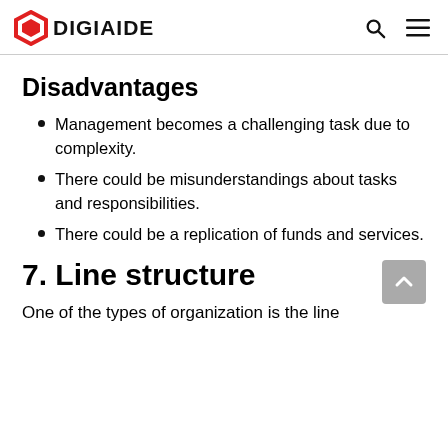DIGIAIDE
Disadvantages
Management becomes a challenging task due to complexity.
There could be misunderstandings about tasks and responsibilities.
There could be a replication of funds and services.
7. Line structure
One of the types of organization is the line